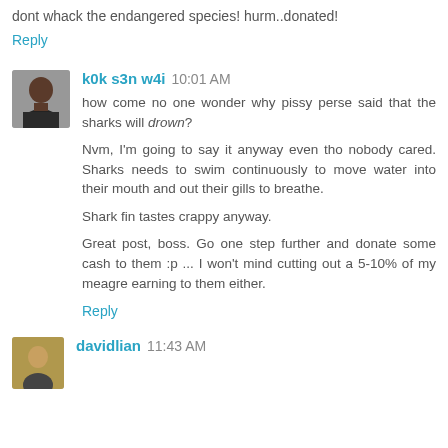dont whack the endangered species! hurm..donated!
Reply
k0k s3n w4i  10:01 AM
how come no one wonder why pissy perse said that the sharks will drown?

Nvm, I'm going to say it anyway even tho nobody cared. Sharks needs to swim continuously to move water into their mouth and out their gills to breathe.

Shark fin tastes crappy anyway.

Great post, boss. Go one step further and donate some cash to them :p ... I won't mind cutting out a 5-10% of my meagre earning to them either.
Reply
davidlian  11:43 AM